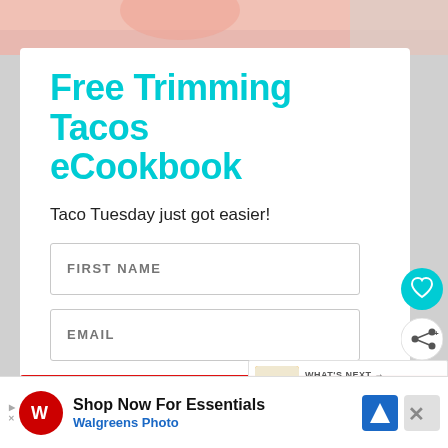[Figure (photo): Top portion of a photo showing a pink/salmon colored background, partial view of food or beverage]
Free Trimming Tacos eCookbook
Taco Tuesday just got easier!
[Figure (screenshot): Web form with FIRST NAME input field, EMAIL input field, and a red SUBSCRIBE button. Side icons include a teal heart/like button and a share button. A 'What's Next' panel shows S-Helper Goldfish... An advertisement bar at bottom shows Walgreens Photo with text 'Shop Now For Essentials']